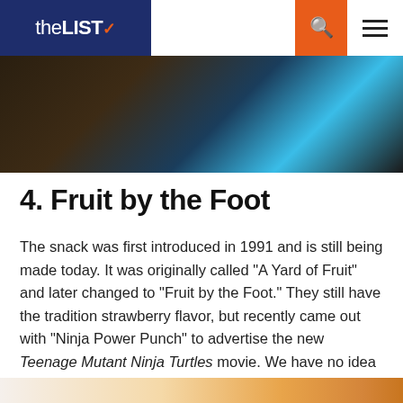theLIST
[Figure (photo): Hero image showing dark brown and bright cyan/blue angular shapes — partial view of a snack or product image]
4. Fruit by the Foot
The snack was first introduced in 1991 and is still being made today. It was originally called "A Yard of Fruit" and later changed to "Fruit by the Foot." They still have the tradition strawberry flavor, but recently came out with "Ninja Power Punch" to advertise the new Teenage Mutant Ninja Turtles movie. We have no idea what that's supposed to taste like.
[Figure (photo): Partial bottom strip showing warm orange/tan gradient texture — decorative element or bottom of next image]